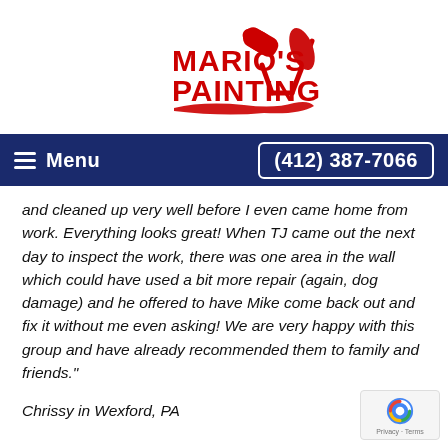[Figure (logo): Mario's Painting logo with red text and a red paint roller illustration]
Menu | (412) 387-7066
and cleaned up very well before I even came home from work. Everything looks great! When TJ came out the next day to inspect the work, there was one area in the wall which could have used a bit more repair (again, dog damage) and he offered to have Mike come back out and fix it without me even asking! We are very happy with this group and have already recommended them to family and friends."
Chrissy in Wexford, PA